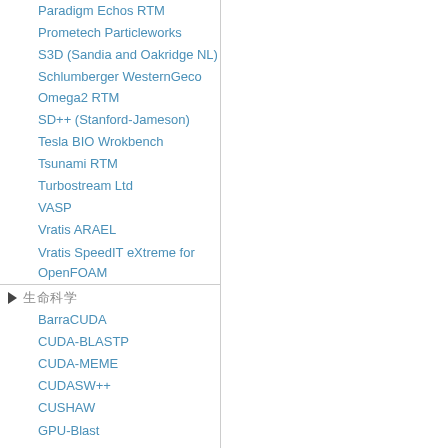Paradigm Echos RTM
Prometech Particleworks
S3D (Sandia and Oakridge NL)
Schlumberger WesternGeco Omega2 RTM
SD++ (Stanford-Jameson)
Tesla BIO Wrokbench
Tsunami RTM
Turbostream Ltd
VASP
Vratis ARAEL
Vratis SpeedIT eXtreme for OpenFOAM
生命科学
BarraCUDA
CUDA-BLASTP
CUDA-MEME
CUDASW++
CUSHAW
GPU-Blast
GPU-HMMER
MUMmerGPU
OpenGE
PIPER Protein Docking